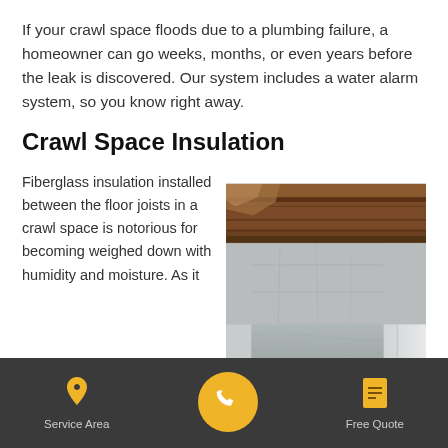If your crawl space floods due to a plumbing failure, a homeowner can go weeks, months, or even years before the leak is discovered. Our system includes a water alarm system, so you know right away.
Crawl Space Insulation
Fiberglass insulation installed between the floor joists in a crawl space is notorious for becoming weighed down with humidity and moisture. As it
[Figure (photo): Photo of a crawl space interior showing plastic vapor barrier on the floor and walls, with wooden floor joists and beams visible above. The space appears clean and encapsulated.]
Service Area | [phone] | Free Quote